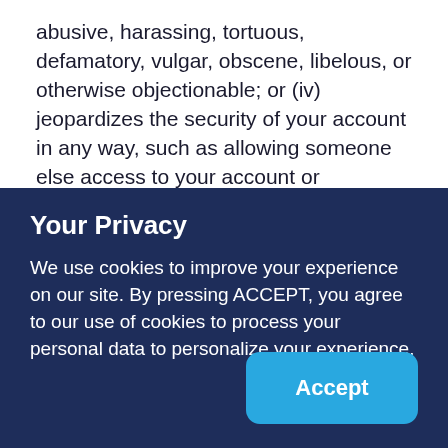abusive, harassing, tortuous, defamatory, vulgar, obscene, libelous, or otherwise objectionable; or (iv) jeopardizes the security of your account in any way, such as allowing someone else access to your account or password; or (v) is otherwise in breach of the terms and conditions outlined in this Agreement. Additionally, you affirm, acknowledge and agree that
Your Privacy
We use cookies to improve your experience on our site. By pressing ACCEPT, you agree to our use of cookies to process your personal data to personalize your experience.